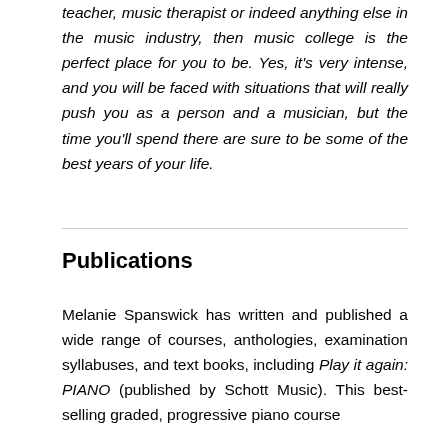teacher, music therapist or indeed anything else in the music industry, then music college is the perfect place for you to be. Yes, it's very intense, and you will be faced with situations that will really push you as a person and a musician, but the time you'll spend there are sure to be some of the best years of your life.
Publications
Melanie Spanswick has written and published a wide range of courses, anthologies, examination syllabuses, and text books, including Play it again: PIANO (published by Schott Music). This best-selling graded, progressive piano course